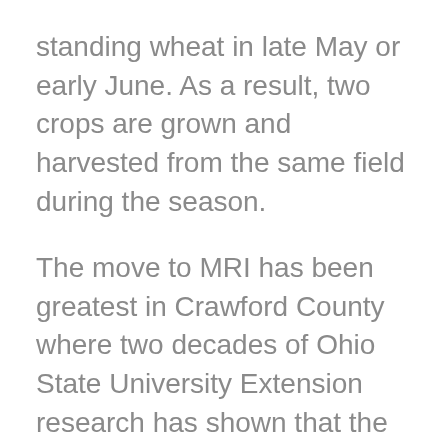standing wheat in late May or early June. As a result, two crops are grown and harvested from the same field during the season.
The move to MRI has been greatest in Crawford County where two decades of Ohio State University Extension research has shown that the system not only works, but it also can be profitable for the farmer. Today, MRI systems account for nearly 25 percent of the wheat acres in the county.
Steve Prochaska, a OSU Extension educator in agriculture, horticulture and